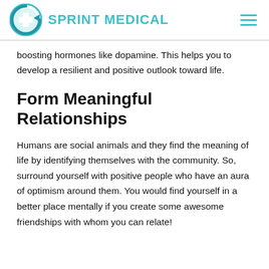SPRINT MEDICAL
boosting hormones like dopamine. This helps you to develop a resilient and positive outlook toward life.
Form Meaningful Relationships
Humans are social animals and they find the meaning of life by identifying themselves with the community. So, surround yourself with positive people who have an aura of optimism around them. You would find yourself in a better place mentally if you create some awesome friendships with whom you can relate!